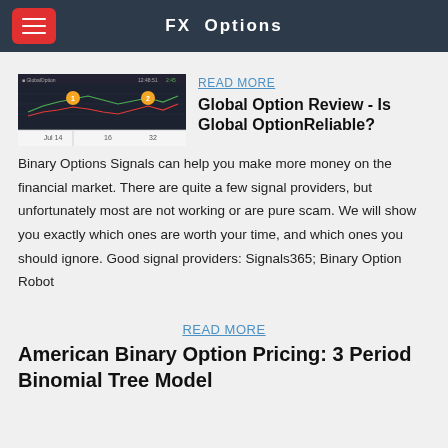FX Options
[Figure (screenshot): Screenshot of a financial chart showing price action with orange numbered markers (1 and 2) and date labels Jul 14, 16, 32]
READ MORE
Global Option Review - Is Global OptionReliable?
Binary Options Signals can help you make more money on the financial market. There are quite a few signal providers, but unfortunately most are not working or are pure scam. We will show you exactly which ones are worth your time, and which ones you should ignore. Good signal providers: Signals365; Binary Option Robot
READ MORE
American Binary Option Pricing: 3 Period Binomial Tree Model